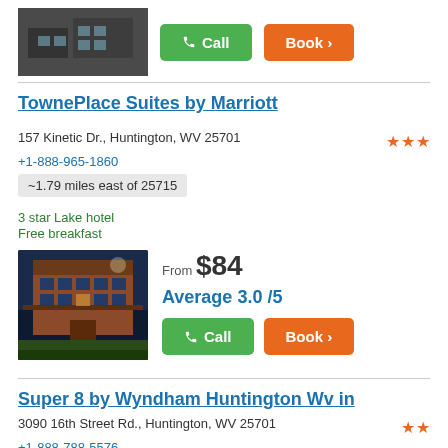[Figure (photo): Hotel exterior thumbnail at top of page (partial listing)]
Call
Book >
TownePlace Suites by Marriott
157 Kinetic Dr., Huntington, WV 25701
+1-888-965-1860
~1.79 miles east of 25715
3 star Lake hotel
Free breakfast
[Figure (photo): TownePlace Suites by Marriott hotel exterior photo at night]
From $84
Average 3.0 /5
Call
Book >
Super 8 by Wyndham Huntington Wv in
3090 16th Street Rd., Huntington, WV 25701
+1-888-788-5576
~1.89 miles east of 25715